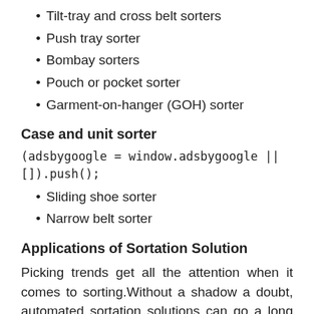Tilt-tray and cross belt sorters
Push tray sorter
Bombay sorters
Pouch or pocket sorter
Garment-on-hanger (GOH) sorter
Case and unit sorter
(adsbygoogle = window.adsbygoogle || []).push();
Sliding shoe sorter
Narrow belt sorter
Applications of Sortation Solution
Picking trends get all the attention when it comes to sorting.Without a shadow a doubt, automated sortation solutions can go a long way in optimizing your order fulfillment system for the modern realities your